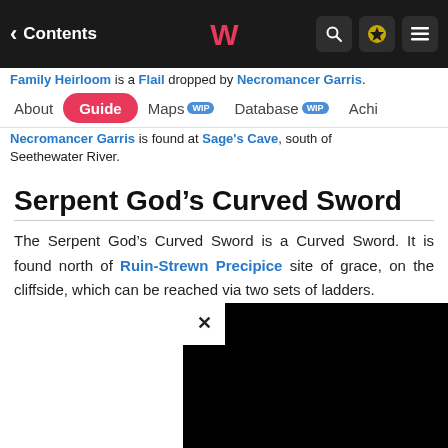< Contents  [logo]  [search] [star] [menu]
Family Heirloom is a Flail dropped by Necromancer Garris. Necromancer Garris is found at Sage's Cave, south of Seethewater River.
About | Guide | Maps WIP | Database WIP | Achie...
Serpent God’s Curved Sword
The Serpent God’s Curved Sword is a Curved Sword. It is found north of Ruin-Strewn Precipice site of grace, on the cliffside, which can be reached via two sets of ladders.
[Figure (screenshot): Black video/ad overlay with close (X) button in top-left corner]